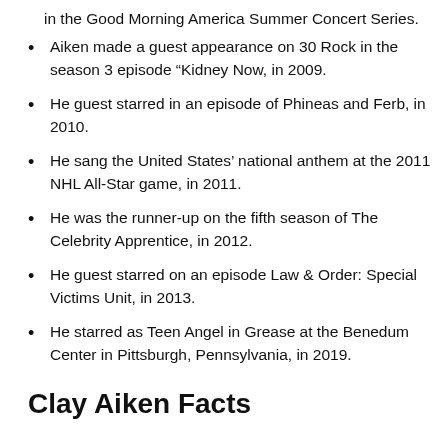in the Good Morning America Summer Concert Series.
Aiken made a guest appearance on 30 Rock in the season 3 episode “Kidney Now, in 2009.
He guest starred in an episode of Phineas and Ferb, in 2010.
He sang the United States’ national anthem at the 2011 NHL All-Star game, in 2011.
He was the runner-up on the fifth season of The Celebrity Apprentice, in 2012.
He guest starred on an episode Law & Order: Special Victims Unit, in 2013.
He starred as Teen Angel in Grease at the Benedum Center in Pittsburgh, Pennsylvania, in 2019.
Clay Aiken Facts